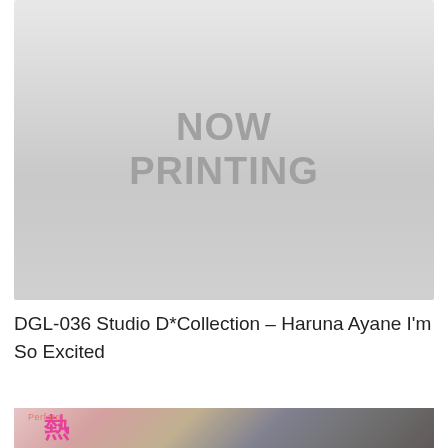[Figure (photo): Placeholder image showing 'NOW PRINTING' text on a light gray background, indicating a product image not yet available.]
DGL-036 Studio D*Collection – Haruna Ayane I'm So Excited
[Figure (photo): Partial photo showing a person with dark hair and Japanese kanji characters including what appears to be 熱 (heat/passion) in pink, with a small label 'Perform' visible at the left edge.]